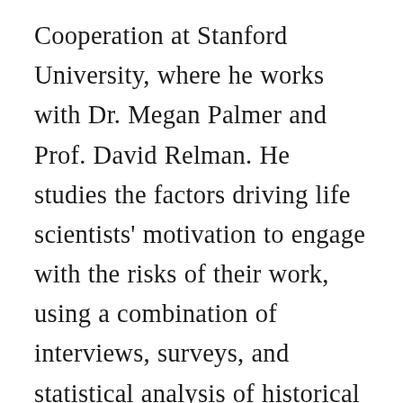Cooperation at Stanford University, where he works with Dr. Megan Palmer and Prof. David Relman. He studies the factors driving life scientists' motivation to engage with the risks of their work, using a combination of interviews, surveys, and statistical analysis of historical data provided by the iGEM Foundation. Dan received his PhD in Education from Stanford, where he worked with Prof. Carol Dweck to develop a set of instructional tools